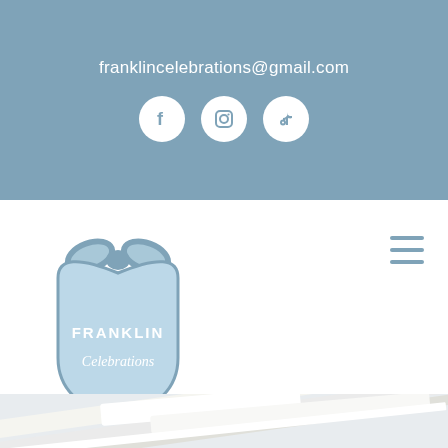franklincelebrations@gmail.com
[Figure (logo): Social media icons: Facebook, Instagram, TikTok in white circles on blue background]
[Figure (logo): Franklin Celebrations logo: light blue shield shape with bow on top, text FRANKLIN Celebrations inside]
[Figure (other): Hamburger menu icon (three horizontal lines) in steel blue]
[Figure (photo): Partial photo of white architectural ceiling/roof elements at an angle]